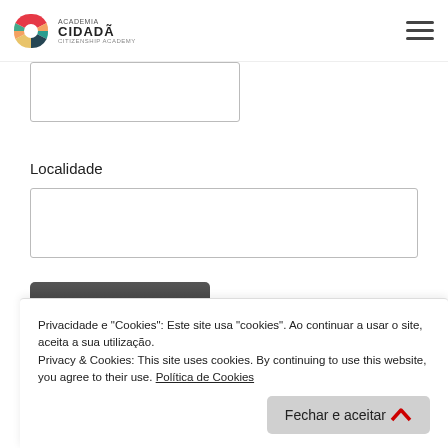[Figure (logo): Academia Cidadã / Citizenship Academy logo with colorful circular icon]
Localidade
Subscrever
Privacidade e "Cookies": Este site usa "cookies". Ao continuar a usar o site, aceita a sua utilização.
Privacy & Cookies: This site uses cookies. By continuing to use this website, you agree to their use. Política de Cookies
Fechar e aceitar